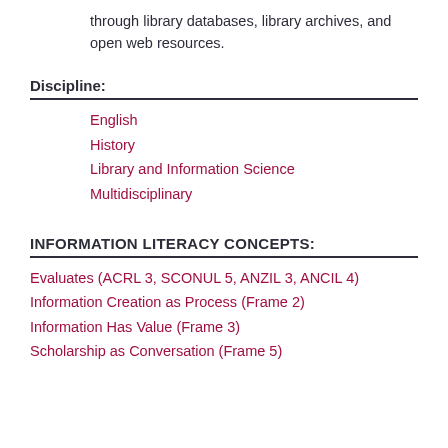through library databases, library archives, and open web resources.
Discipline:
English
History
Library and Information Science
Multidisciplinary
INFORMATION LITERACY CONCEPTS:
Evaluates (ACRL 3, SCONUL 5, ANZIL 3, ANCIL 4)
Information Creation as Process (Frame 2)
Information Has Value (Frame 3)
Scholarship as Conversation (Frame 5)